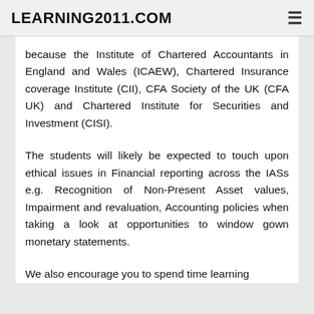LEARNING2011.COM
because the Institute of Chartered Accountants in England and Wales (ICAEW), Chartered Insurance coverage Institute (CII), CFA Society of the UK (CFA UK) and Chartered Institute for Securities and Investment (CISI).
The students will likely be expected to touch upon ethical issues in Financial reporting across the IASs e.g. Recognition of Non-Present Asset values, Impairment and revaluation, Accounting policies when taking a look at opportunities to window gown monetary statements.
We also encourage you to spend time learning